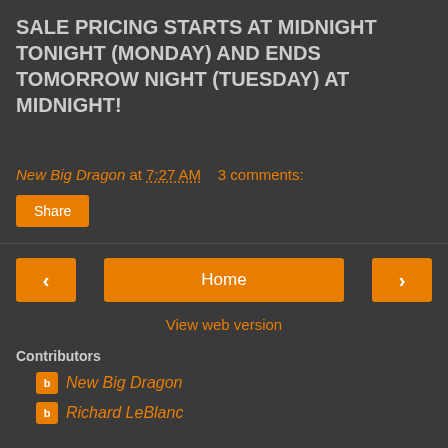SALE PRICING STARTS AT MIDNIGHT TONIGHT (MONDAY) AND ENDS TOMORROW NIGHT (TUESDAY) AT MIDNIGHT!
New Big Dragon at 7:27 AM   3 comments:
Share
Home
View web version
Contributors
New Big Dragon
Richard LeBlanc
Powered by Blogger.